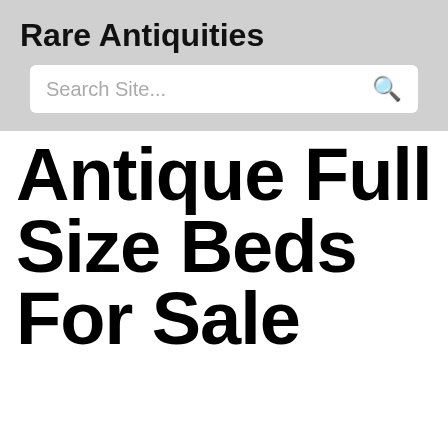Rare Antiquities
Search Site...
Antique Full Size Beds For Sale